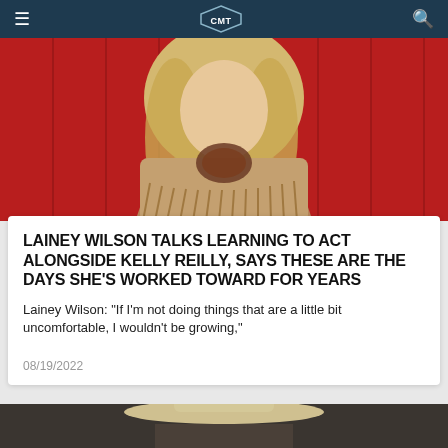CMT
[Figure (photo): Lainey Wilson wearing a tan fringe jacket and floral scarf, standing against a red background with long blonde hair]
LAINEY WILSON TALKS LEARNING TO ACT ALONGSIDE KELLY REILLY, SAYS THESE ARE THE DAYS SHE'S WORKED TOWARD FOR YEARS
Lainey Wilson: "If I'm not doing things that are a little bit uncomfortable, I wouldn't be growing,"
08/19/2022
[Figure (photo): Partial view of a person wearing a white cowboy hat in a dark interior setting]